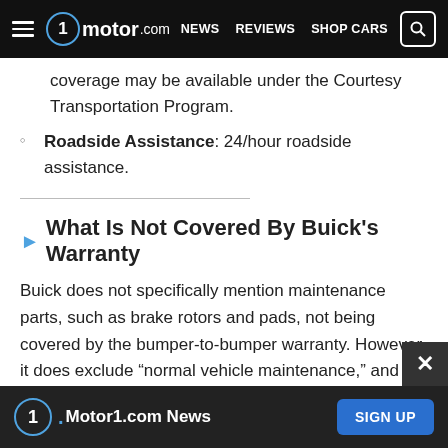motor1.com — NEWS  REVIEWS  SHOP CARS
coverage may be available under the Courtesy Transportation Program.
Roadside Assistance: 24/hour roadside assistance.
What Is Not Covered By Buick's Warranty
Buick does not specifically mention maintenance parts, such as brake rotors and pads, not being covered by the bumper-to-bumper warranty. However, it does exclude “normal vehicle maintenance,” and so, presumably, that would include any associated parts.
It’s under the powertrain warranty where Buick has a
Motor1.com News  SIGN UP